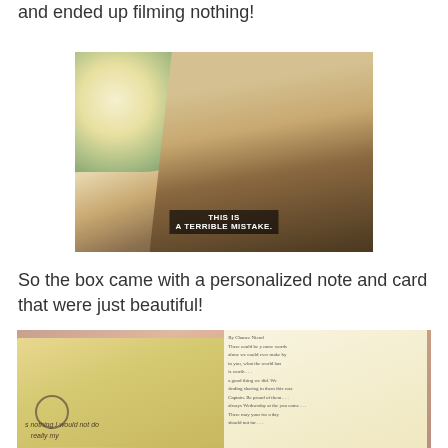It turned out that when I filmed it I had moved the phone and ended up filming nothing!
[Figure (screenshot): A man in a white suit looking down with subtitle text reading 'THIS IS A TERRIBLE MISTAKE.' overlaid on a movie scene with white flowers in the background.]
So the box came with a personalized note and card that were just beautiful!
[Figure (photo): A photo of a personalized greeting card and handwritten note on a pink/mauve textured background. The card is cream/yellow colored with a circle emblem, partially visible text reading 'nothing I would not do ... really my'. The note is handwritten cursive on aged paper.]